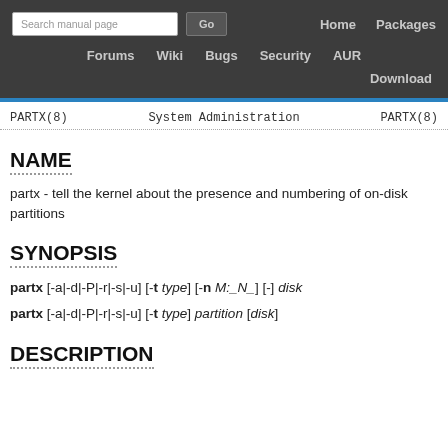Search manual page  Go   Home   Packages   Forums   Wiki   Bugs   Security   AUR   Download
PARTX(8)   System Administration   PARTX(8)
NAME
partx - tell the kernel about the presence and numbering of on-disk partitions
SYNOPSIS
partx [-a|-d|-P|-r|-s|-u] [-t type] [-n M:_N_] [-] disk
partx [-a|-d|-P|-r|-s|-u] [-t type] partition [disk]
DESCRIPTION